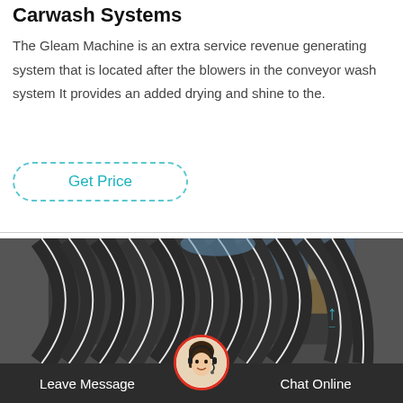Carwash Systems
The Gleam Machine is an extra service revenue generating system that is located after the blowers in the conveyor wash system It provides an added drying and shine to the.
Get Price
[Figure (photo): Close-up photo of dark grey rubber carwash brush strips with white stripes, industrial carwash equipment, blue machinery visible in background]
Leave Message
Chat Online